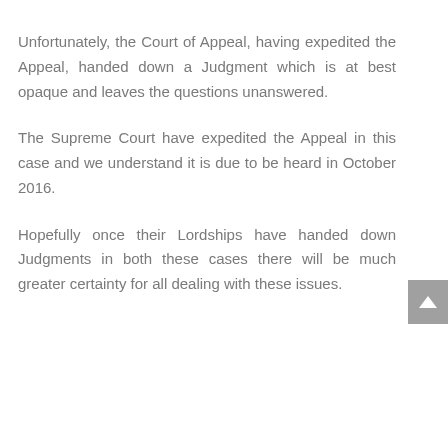Unfortunately, the Court of Appeal, having expedited the Appeal, handed down a Judgment which is at best opaque and leaves the questions unanswered.
The Supreme Court have expedited the Appeal in this case and we understand it is due to be heard in October 2016.
Hopefully once their Lordships have handed down Judgments in both these cases there will be much greater certainty for all dealing with these issues.